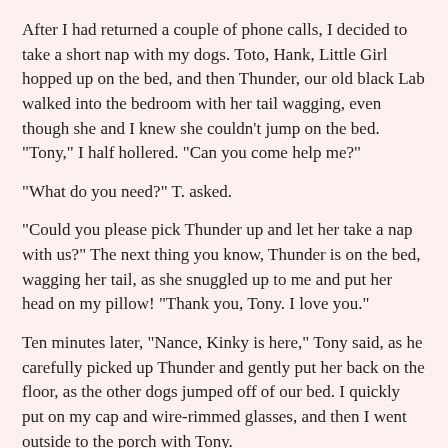After I had returned a couple of phone calls, I decided to take a short nap with my dogs. Toto, Hank, Little Girl hopped up on the bed, and then Thunder, our old black Lab walked into the bedroom with her tail wagging, even though she and I knew she couldn't jump on the bed. "Tony," I half hollered. "Can you come help me?"
"What do you need?" T. asked.
"Could you please pick Thunder up and let her take a nap with us?" The next thing you know, Thunder is on the bed, wagging her tail, as she snuggled up to me and put her head on my pillow! "Thank you, Tony. I love you."
Ten minutes later, "Nance, Kinky is here," Tony said, as he carefully picked up Thunder and gently put her back on the floor, as the other dogs jumped off of our bed. I quickly put on my cap and wire-rimmed glasses, and then I went outside to the porch with Tony.
"Tony and Cousin Nancy," Kinky said. "This is Ira. He's a Judge." We shook hands with Ira, and then we invited everyone to go into Outer Space with us for a visit. I really liked Ira, and so did Tone.